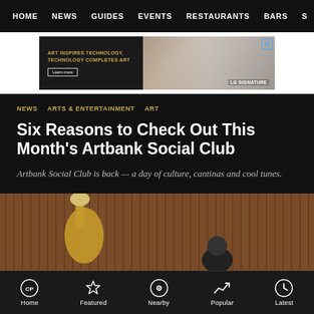HOME  NEWS  GUIDES  EVENTS  RESTAURANTS  BARS  S
[Figure (screenshot): Advertisement banner: black background with gold text 'ART INSPIRES TECHNOLOGY, TECHNOLOGY COMPLETES ART' and a 'Learn more' button on the left, and a photo of people in a room with LG SIGNATURE logo on the right]
NEWS  ARTS & ENTERTAINMENT  ART
Six Reasons to Check Out This Month's Artbank Social Club
Artbank Social Club is back — a day of culture, cantinas and cool tunes.
[Figure (photo): Photo of people against a wooden slatted wall background, partial view showing a person holding up a yellow/cream colored bag, and other people visible below]
Home  Featured  Nearby  Popular  Latest